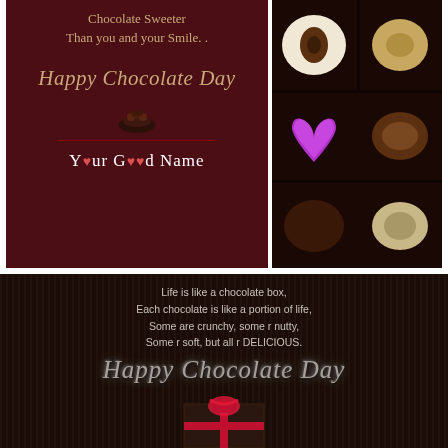[Figure (illustration): Two-panel top section: Left panel is a dark brown chocolate day greeting card with text 'Chocolate Sweeter Than you and your Smile..', 'Happy Chocolate Day', a small chocolate bowl illustration, a red dividing line, and 'Your Good Name' in white. Right panel shows a photo of assorted chocolates in a dark tray including a pink/purple foil heart, white chocolates, and brown chocolates.]
[Figure (illustration): Bottom panel: Dark brown background with vertical stripe texture. Text reads 'Life is like a chocolate box, Each chocolate is like a portion of life, Some are crunchy, some r nutty, Some r soft, but all r DELICIOUS.' Below is 'Happy Chocolate Day' in large italic script with silver/grey styling, and at the bottom a gift box with red ribbon bow.]